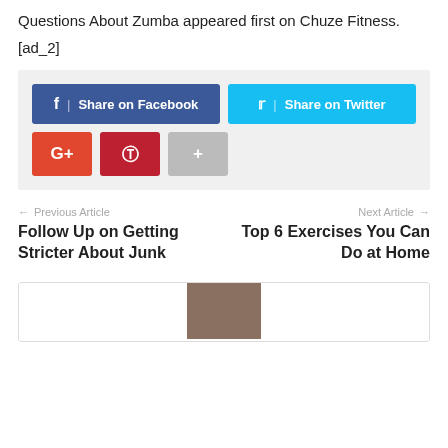Questions About Zumba appeared first on Chuze Fitness.
[ad_2]
[Figure (infographic): Social share buttons: Share on Facebook (dark blue), Share on Twitter (cyan/blue), Google+ (red), Pinterest (dark red), More/plus (gray)]
← Previous Article
Follow Up on Getting Stricter About Junk
Next Article →
Top 6 Exercises You Can Do at Home
[Figure (photo): Partial thumbnail image at bottom of page inside a bordered box]